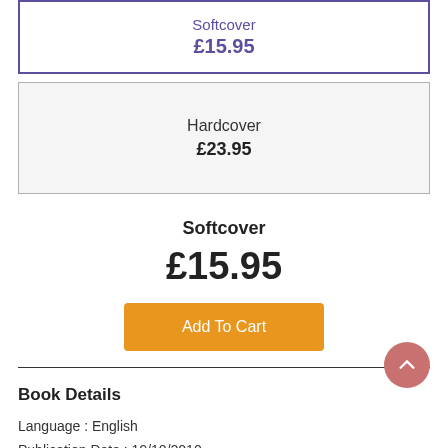Softcover
£15.95
Hardcover
£23.95
Softcover
£15.95
Add To Cart
Book Details
Language : English
Publication Date : 19/10/2010